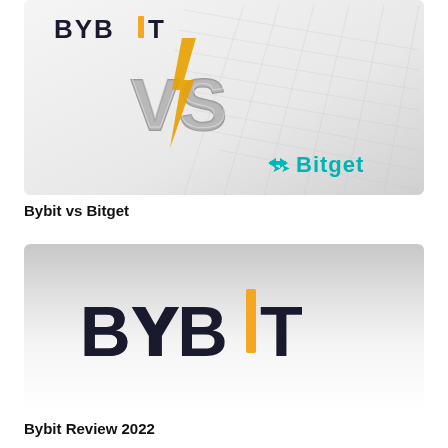[Figure (illustration): Bybit vs Bitget comparison banner: Bybit logo on top left, large 3D metallic 'VS' text in center with a lightning bolt, Bitget teal logo with double arrows on the right, over a white grid/mesh background.]
Bybit vs Bitget
[Figure (logo): Bybit logo on a light gray to white gradient background. Dark navy bold 'BYBIT' text with an orange vertical bar replacing the letter 'I'.]
Bybit Review 2022